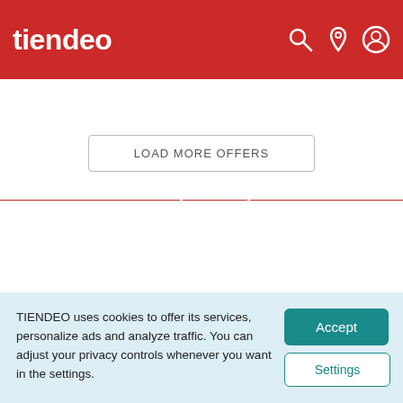tiendeo
ets  Home  Dept. Stores  Fashion  Electronics  DIY  Toys
LOAD MORE OFFERS
Fashion
[Figure (logo): ZARA logo in large serif bold font]
TIENDEO uses cookies to offer its services, personalize ads and analyze traffic. You can adjust your privacy controls whenever you want in the settings.